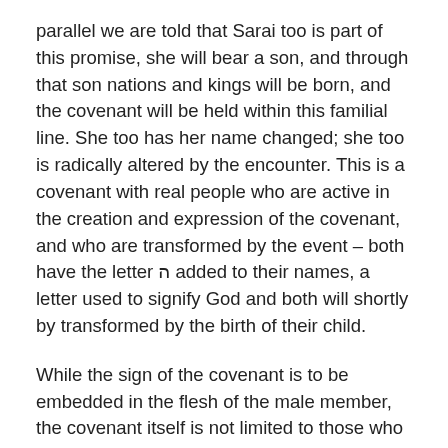parallel we are told that Sarai too is part of this promise, she will bear a son, and through that son nations and kings will be born, and the covenant will be held within this familial line. She too has her name changed; she too is radically altered by the encounter. This is a covenant with real people who are active in the creation and expression of the covenant, and who are transformed by the event – both have the letter ה added to their names, a letter used to signify God and both will shortly by transformed by the birth of their child.
While the sign of the covenant is to be embedded in the flesh of the male member, the covenant itself is not limited to those who carry the sign – it is enshrined in the peoplehood that descends from Abraham and Sarah, in their activity and participation.